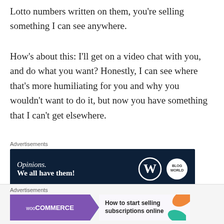Lotto numbers written on them, you're selling something I can see anywhere.
How's about this: I'll get on a video chat with you, and do what you want? Honestly, I can see where that's more humiliating for you and why you wouldn't want to do it, but now you have something that I can't get elsewhere.
[Figure (screenshot): Advertisement banner: dark navy background with white italic text 'Opinions.' and bold text 'We all have them!' with WordPress logo and another circular logo on the right.]
People pay for what they don't have, and they pay for it when they see the value of it meeting or exceeding the
[Figure (screenshot): WooCommerce advertisement banner: purple left section with WooCommerce logo, arrow shape pointing right, text 'How to start selling subscriptions online', decorative leaf shapes in orange and teal on right.]